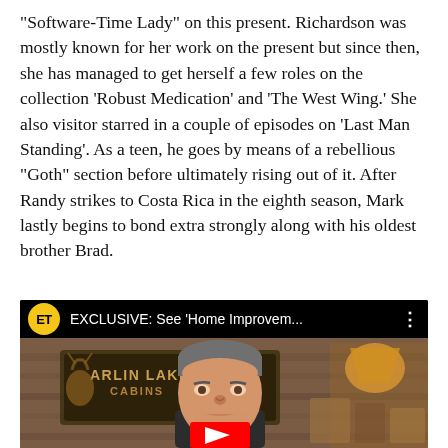“Software-Time Lady” on this present. Richardson was mostly known for her work on the present but since then, she has managed to get herself a few roles on the collection ‘Robust Medication’ and ‘The West Wing.’ She also visitor starred in a couple of episodes on ‘Last Man Standing’. As a teen, he goes by means of a rebellious “Goth” section before ultimately rising out of it. After Randy strikes to Costa Rica in the eighth season, Mark lastly begins to bond extra strongly along with his oldest brother Brad.
[Figure (screenshot): YouTube video embed showing ET logo with title 'EXCLUSIVE: See Home Improvem...' and a thumbnail of a man in front of a lodge sign (Parlin Lake Lodge Cabins) with a red YouTube play button.]